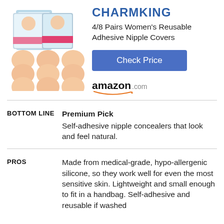CHARMKING
4/8 Pairs Women's Reusable Adhesive Nipple Covers
[Figure (photo): Product image showing CHARMKING nipple cover packages and round silicone nipple covers arranged in a grid]
Check Price
[Figure (logo): amazon.com logo with orange smile underline]
BOTTOM LINE
Premium Pick
Self-adhesive nipple concealers that look and feel natural.
PROS
Made from medical-grade, hypo-allergenic silicone, so they work well for even the most sensitive skin. Lightweight and small enough to fit in a handbag. Self-adhesive and reusable if washed